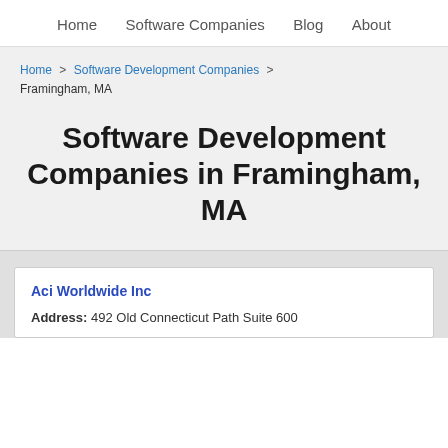Home   Software Companies   Blog   About
Home > Software Development Companies > Framingham, MA
Software Development Companies in Framingham, MA
Aci Worldwide Inc
Address: 492 Old Connecticut Path Suite 600